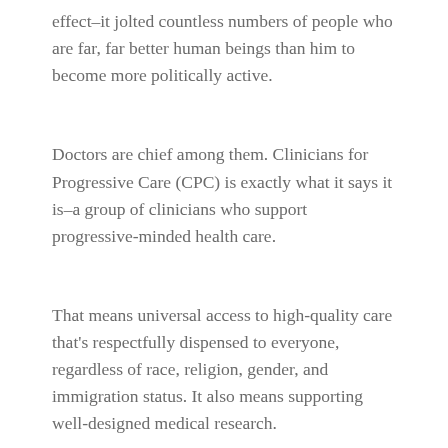effect–it jolted countless numbers of people who are far, far better human beings than him to become more politically active.
Doctors are chief among them. Clinicians for Progressive Care (CPC) is exactly what it says it is–a group of clinicians who support progressive-minded health care.
That means universal access to high-quality care that's respectfully dispensed to everyone, regardless of race, religion, gender, and immigration status. It also means supporting well-designed medical research.